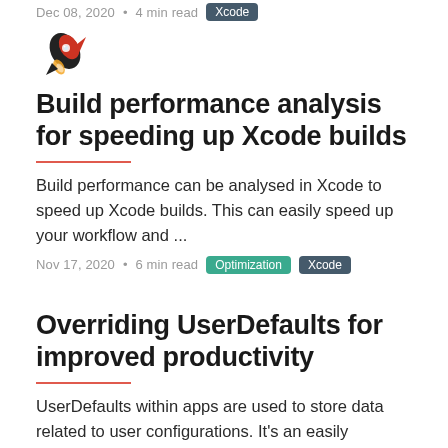Dec 08, 2020 • 4 min read  Xcode
[Figure (illustration): Rocket ship icon / logo illustration — a stylized rocket with red and black coloring on a white background]
Build performance analysis for speeding up Xcode builds
Build performance can be analysed in Xcode to speed up Xcode builds. This can easily speed up your workflow and ...
Nov 17, 2020 • 6 min read  Optimization  Xcode
Overriding UserDefaults for improved productivity
UserDefaults within apps are used to store data related to user configurations. It's an easily accessible data store for saving ...
Sep 29, 2020 • 2 min read  Xcode